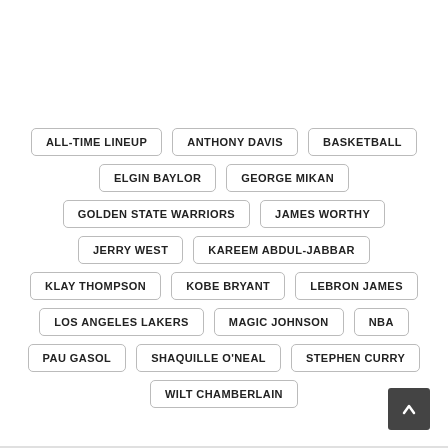ALL-TIME LINEUP
ANTHONY DAVIS
BASKETBALL
ELGIN BAYLOR
GEORGE MIKAN
GOLDEN STATE WARRIORS
JAMES WORTHY
JERRY WEST
KAREEM ABDUL-JABBAR
KLAY THOMPSON
KOBE BRYANT
LEBRON JAMES
LOS ANGELES LAKERS
MAGIC JOHNSON
NBA
PAU GASOL
SHAQUILLE O'NEAL
STEPHEN CURRY
WILT CHAMBERLAIN